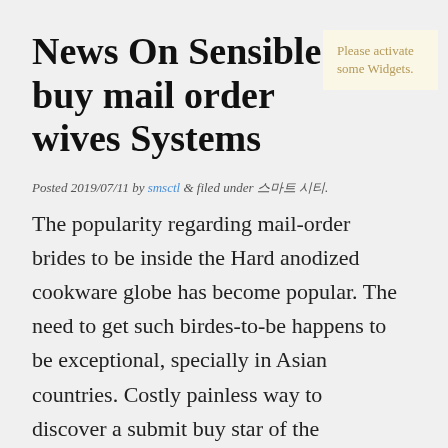News On Sensible buy mail order wives Systems
Please activate some Widgets.
Posted 2019/07/11 by smsctl & filed under 스마트 시티.
The popularity regarding mail-order brides to be inside the Hard anodized cookware globe has become popular. The need to get such birdes-to-be happens to be exceptional, specially in Asian countries. Costly painless way to discover a submit buy star of the